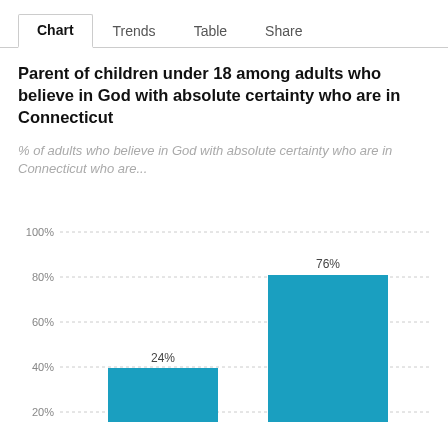Chart  Trends  Table  Share
Parent of children under 18 among adults who believe in God with absolute certainty who are in Connecticut
% of adults who believe in God with absolute certainty who are in Connecticut who are...
[Figure (bar-chart): Parent of children under 18 among adults who believe in God with absolute certainty who are in Connecticut]